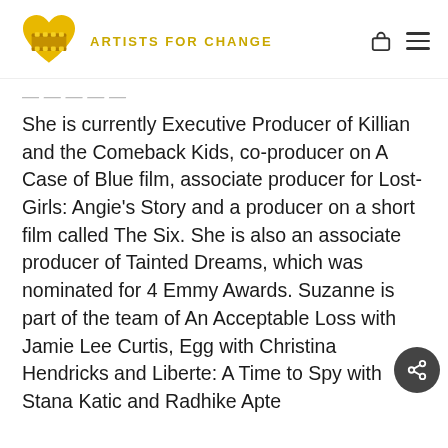ARTISTS FOR CHANGE
She is currently Executive Producer of Killian and the Comeback Kids, co-producer on A Case of Blue film, associate producer for Lost-Girls: Angie's Story and a producer on a short film called The Six. She is also an associate producer of Tainted Dreams, which was nominated for 4 Emmy Awards. Suzanne is part of the team of An Acceptable Loss with Jamie Lee Curtis, Egg with Christina Hendricks and Liberte: A Time to Spy with Stana Katic and Radhike Apte